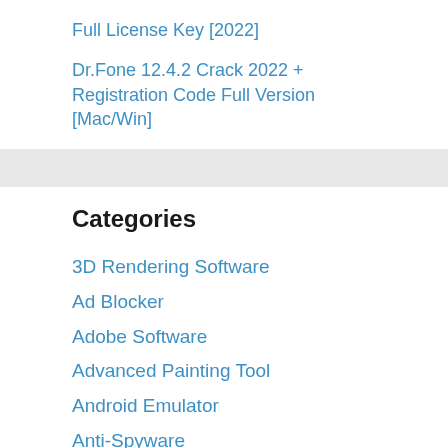Full License Key [2022]
Dr.Fone 12.4.2 Crack 2022 + Registration Code Full Version [Mac/Win]
Categories
3D Rendering Software
Ad Blocker
Adobe Software
Advanced Painting Tool
Android Emulator
Anti-Spyware
Anti-Virus